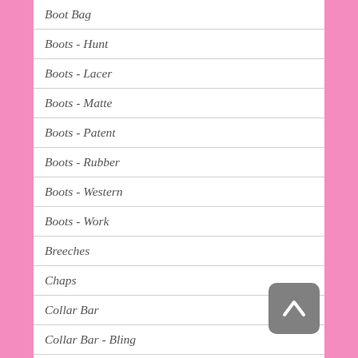Boot Bag
Boots - Hunt
Boots - Lacer
Boots - Matte
Boots - Patent
Boots - Rubber
Boots - Western
Boots - Work
Breeches
Chaps
Collar Bar
Collar Bar - Bling
Crop - Bling
Day Coat
Derby